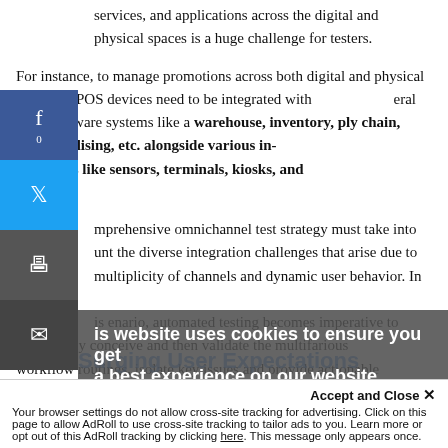services, and applications across the digital and physical spaces is a huge challenge for testers.
For instance, to manage promotions across both digital and physical channels, POS devices need to be integrated with several other software systems like a warehouse, inventory, supply chain, merchandising, etc. alongside various in-store devices like sensors, terminals, kiosks, and screens.
A comprehensive omnichannel test strategy must take into account the diverse integration challenges that arise due to the multiplicity of channels and dynamic user behavior. In such a scenario, automated testing becomes imperative to realistically conceive and then validate the multifarious workflow routings, isolate key issues and provide actionable inputs to the development team.
Surging User Expectations
This website uses cookies to ensure you get the best experience on our website. Learn more
Accept and Close ×
Your browser settings do not allow cross-site tracking for advertising. Click on this page to allow AdRoll to use cross-site tracking to tailor ads to you. Learn more or opt out of this AdRoll tracking by clicking here. This message only appears once.